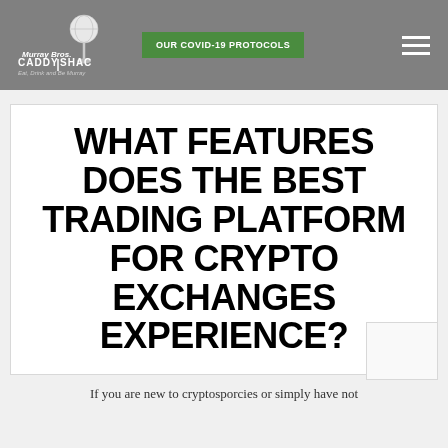Murray Bros. Caddy Shack | OUR COVID-19 PROTOCOLS
WHAT FEATURES DOES THE BEST TRADING PLATFORM FOR CRYPTO EXCHANGES EXPERIENCE?
If you are new to cryptosporcies or simply have not